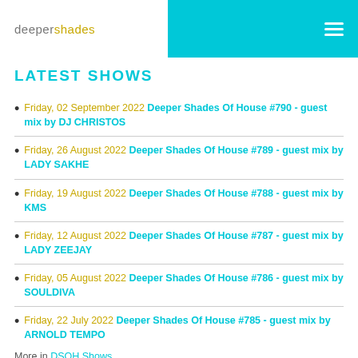deepershades
LATEST SHOWS
Friday, 02 September 2022 Deeper Shades Of House #790 - guest mix by DJ CHRISTOS
Friday, 26 August 2022 Deeper Shades Of House #789 - guest mix by LADY SAKHE
Friday, 19 August 2022 Deeper Shades Of House #788 - guest mix by KMS
Friday, 12 August 2022 Deeper Shades Of House #787 - guest mix by LADY ZEEJAY
Friday, 05 August 2022 Deeper Shades Of House #786 - guest mix by SOULDIVA
Friday, 22 July 2022 Deeper Shades Of House #785 - guest mix by ARNOLD TEMPO
More in DSOH Shows